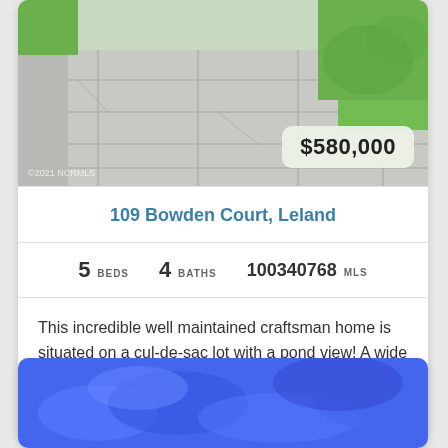[Figure (photo): Exterior photo of driveway with concrete pavers and green lawn, partial view of craftsman home]
$580,000
109 Bowden Court, Leland
5 BEDS  4 BATHS  100340768 MLS
This incredible well maintained craftsman home is situated on a cul-de-sac lot with a pond view! A wide paved driveway and attached 2 car garage provide an abundance of p...
[Figure (photo): Second property listing photo, blue sky with clouds, partial view]